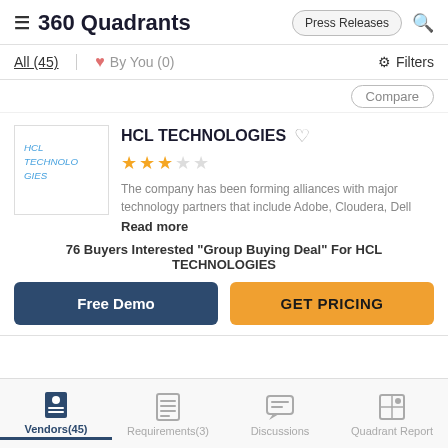360 Quadrants | Press Releases
All (45) | By You (0) | Filters
Compare
HCL TECHNOLOGIES
3 out of 5 stars
The company has been forming alliances with major technology partners that include Adobe, Cloudera, Dell
Read more
76 Buyers Interested "Group Buying Deal" For HCL TECHNOLOGIES
Free Demo
GET PRICING
Vendors(45) | Requirements(3) | Discussions | Quadrant Report